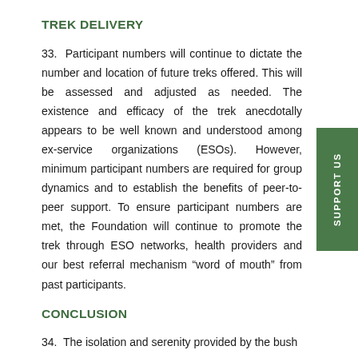TREK DELIVERY
33. Participant numbers will continue to dictate the number and location of future treks offered. This will be assessed and adjusted as needed. The existence and efficacy of the trek anecdotally appears to be well known and understood among ex-service organizations (ESOs). However, minimum participant numbers are required for group dynamics and to establish the benefits of peer-to-peer support. To ensure participant numbers are met, the Foundation will continue to promote the trek through ESO networks, health providers and our best referral mechanism “word of mouth” from past participants.
CONCLUSION
34. The isolation and serenity provided by the bush